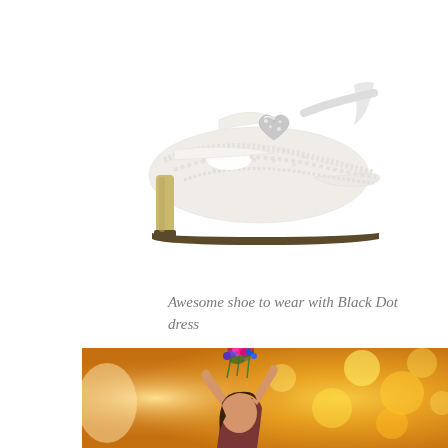[Figure (photo): White lace high-heel shoe with rhinestone heart embellishment and ribbon strap, photographed on white background]
Awesome shoe to wear with Black Dot dress
[Figure (photo): Young girl with dark hair reaching up holding colorful flowers (pink, purple, blue bouquet) with warm golden bokeh background of yellow flowers]